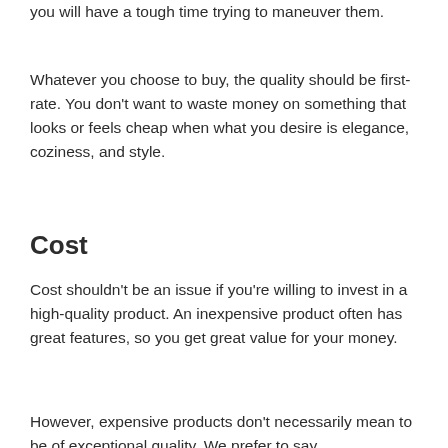you will have a tough time trying to maneuver them.
Whatever you choose to buy, the quality should be first-rate. You don't want to waste money on something that looks or feels cheap when what you desire is elegance, coziness, and style.
Cost
Cost shouldn't be an issue if you're willing to invest in a high-quality product. An inexpensive product often has great features, so you get great value for your money.
However, expensive products don't necessarily mean to be of exceptional quality. We prefer to say...